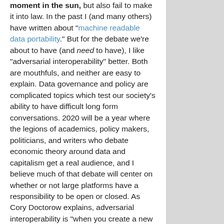moment in the sun, but also fail to make it into law. In the past I (and many others) have written about "machine readable data portability." But for the debate we're about to have (and need to have), I like "adversarial interoperability" better. Both are mouthfuls, and neither are easy to explain. Data governance and policy are complicated topics which test our society's ability to have difficult long form conversations. 2020 will be a year where the legions of academics, policy makers, politicians, and writers who debate economic theory around data and capitalism get a real audience, and I believe much of that debate will center on whether or not large platforms have a responsibility to be open or closed. As Cory Doctorow explains, adversarial interoperability is "when you create a new product or service that plugs into the existing ones without the permission of the companies that make them." As in, I can plug my new e-commerce engine into Amazon, my new mobile operating system into iOS, my new